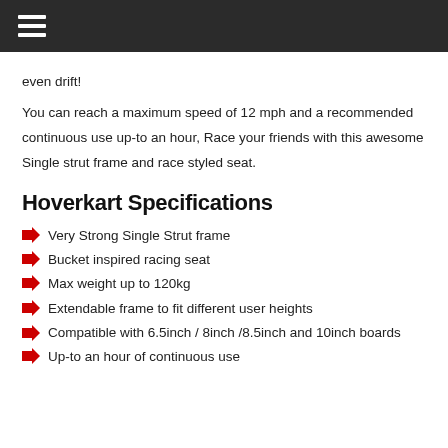even drift!
You can reach a maximum speed of 12 mph and a recommended continuous use up-to an hour, Race your friends with this awesome Single strut frame and race styled seat.
Hoverkart Specifications
Very Strong Single Strut frame
Bucket inspired racing seat
Max weight up to 120kg
Extendable frame to fit different user heights
Compatible with 6.5inch / 8inch /8.5inch and 10inch boards
Up-to an hour of continuous use